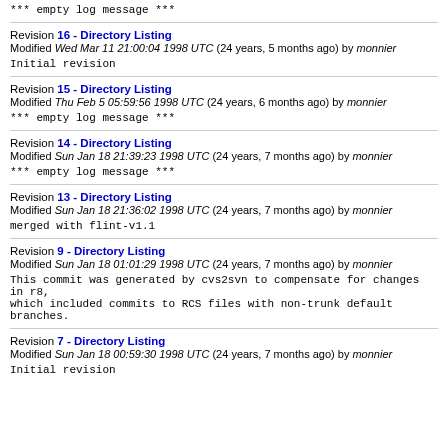*** empty log message ***
Revision 16 - Directory Listing
Modified Wed Mar 11 21:00:04 1998 UTC (24 years, 5 months ago) by monnier
Initial revision
Revision 15 - Directory Listing
Modified Thu Feb 5 05:59:56 1998 UTC (24 years, 6 months ago) by monnier
*** empty log message ***
Revision 14 - Directory Listing
Modified Sun Jan 18 21:39:23 1998 UTC (24 years, 7 months ago) by monnier
*** empty log message ***
Revision 13 - Directory Listing
Modified Sun Jan 18 21:36:02 1998 UTC (24 years, 7 months ago) by monnier
merged with flint-v1.1
Revision 9 - Directory Listing
Modified Sun Jan 18 01:01:29 1998 UTC (24 years, 7 months ago) by monnier
This commit was generated by cvs2svn to compensate for changes in r8,
which included commits to RCS files with non-trunk default branches.
Revision 7 - Directory Listing
Modified Sun Jan 18 00:59:30 1998 UTC (24 years, 7 months ago) by monnier
Initial revision